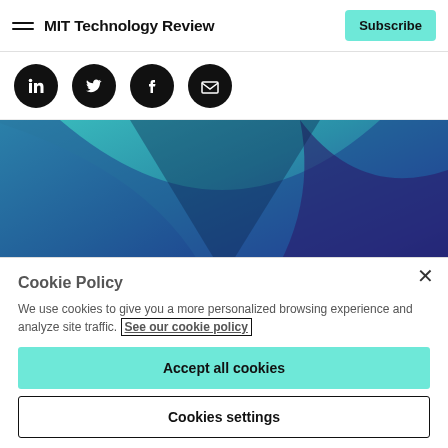MIT Technology Review
[Figure (illustration): Four circular social media icons (LinkedIn, Twitter, Facebook, Email) on black circles]
[Figure (illustration): Abstract gradient banner with teal, blue, and purple flowing geometric shapes]
Cookie Policy
We use cookies to give you a more personalized browsing experience and analyze site traffic. See our cookie policy
Accept all cookies
Cookies settings